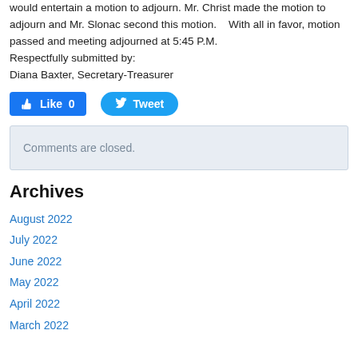would entertain a motion to adjourn. Mr. Christ made the motion to adjourn and Mr. Slonac second this motion.    With all in favor, motion passed and meeting adjourned at 5:45 P.M.
Respectfully submitted by:
Diana Baxter, Secretary-Treasurer
[Figure (other): Social media buttons: Facebook Like (count 0) and Twitter Tweet]
Comments are closed.
Archives
August 2022
July 2022
June 2022
May 2022
April 2022
March 2022